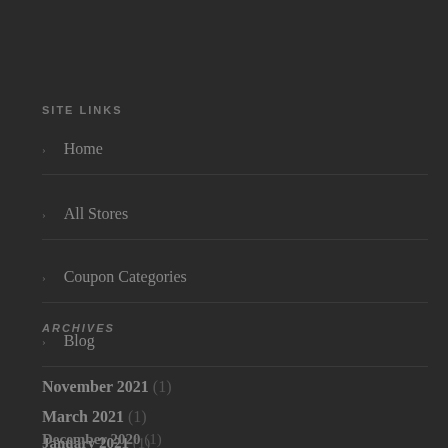SITE LINKS
Home
All Stores
Coupon Categories
Blog
ARCHIVES
November 2021 (1)
March 2021 (1)
January 2021 (1)
December 2020 (1)